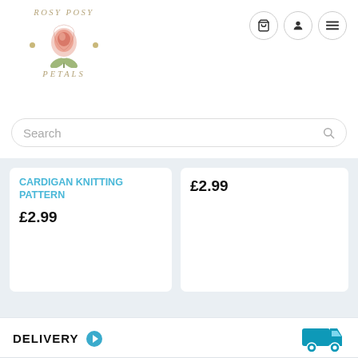[Figure (logo): Rosy Posy Petals logo with a rose illustration, two decorative dots, and stylized text]
[Figure (screenshot): Navigation icons: shopping cart, user profile, and hamburger menu — each in a circular button]
Search
CARDIGAN KNITTING PATTERN
£2.99
£2.99
DELIVERY